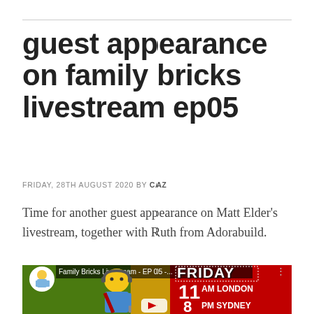guest appearance on family bricks livestream ep05
FRIDAY, 28TH AUGUST 2020 BY CAZ
Time for another guest appearance on Matt Elder's livestream, together with Ruth from Adorabuild.
[Figure (screenshot): YouTube thumbnail for Family Bricks Livestream EP05 showing a LEGO character with headphones, green/yellow/red background, text reading FRIDAY 11 AM LONDON 8 PM SYDNEY]